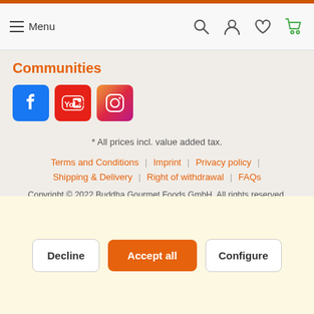Menu
Communities
[Figure (illustration): Social media icons: Facebook (blue), YouTube (red), Instagram (gradient pink/purple)]
* All prices incl. value added tax.
Terms and Conditions | Imprint | Privacy policy | Shipping & Delivery | Right of withdrawal | FAQs
Copyright © 2022 Buddha Gourmet Foods GmbH. All rights reserved.
Decline | Accept all | Configure